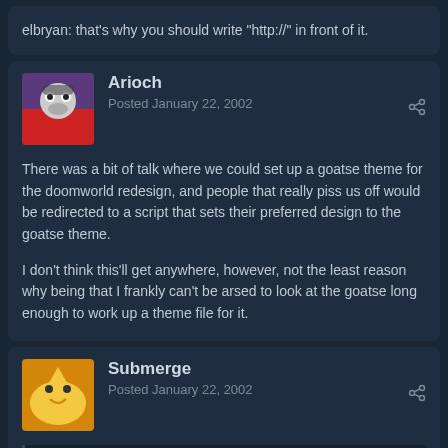elbryan: that's why you should write "http://" in front of it.
Arioch
Posted January 22, 2002
There was a bit of talk where we could set up a goatse theme for the doomworld redesign, and people that really piss us off would be redirected to a script that sets their preferred design to the goatse theme.

I don't think this'll get anywhere, however, not the least reason why being that I frankly can't be arsed to look at the goatse long enough to work up a theme file for it.
Submerge
Posted January 22, 2002
Quote
It was annoying just trying to read them. Some call the Morning